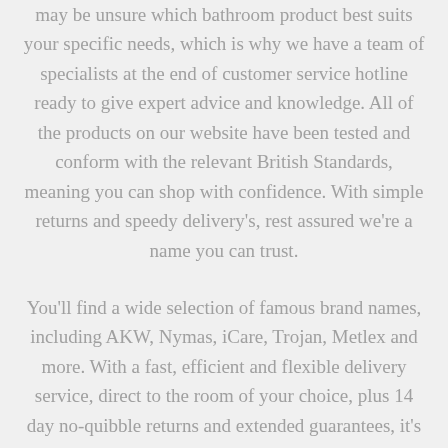may be unsure which bathroom product best suits your specific needs, which is why we have a team of specialists at the end of customer service hotline ready to give expert advice and knowledge. All of the products on our website have been tested and conform with the relevant British Standards, meaning you can shop with confidence. With simple returns and speedy delivery's, rest assured we're a name you can trust.
You'll find a wide selection of famous brand names, including AKW, Nymas, iCare, Trojan, Metlex and more. With a fast, efficient and flexible delivery service, direct to the room of your choice, plus 14 day no-quibble returns and extended guarantees, it's no wonder we've got an excellent reputation. Whether you wish add an grab rail to help with mobility issues, or completely renovate your bathroom to make it more user